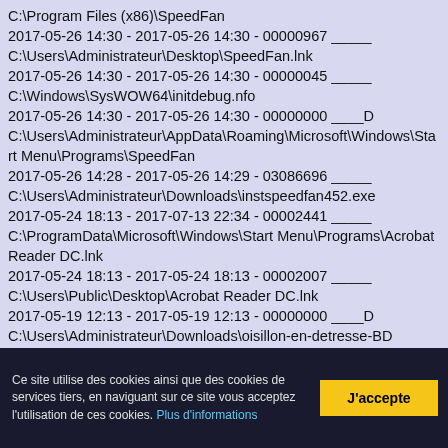C:\Program Files (x86)\SpeedFan
2017-05-26 14:30 - 2017-05-26 14:30 - 00000967 _____
C:\Users\Administrateur\Desktop\SpeedFan.lnk
2017-05-26 14:30 - 2017-05-26 14:30 - 00000045 _____
C:\Windows\SysWOW64\initdebug.nfo
2017-05-26 14:30 - 2017-05-26 14:30 - 00000000 ____D
C:\Users\Administrateur\AppData\Roaming\Microsoft\Windows\Start Menu\Programs\SpeedFan
2017-05-26 14:28 - 2017-05-26 14:29 - 03086696 _____
C:\Users\Administrateur\Downloads\instspeedfan452.exe
2017-05-24 18:13 - 2017-07-13 22:34 - 00002441 _____
C:\ProgramData\Microsoft\Windows\Start Menu\Programs\Acrobat Reader DC.lnk
2017-05-24 18:13 - 2017-05-24 18:13 - 00002007 _____
C:\Users\Public\Desktop\Acrobat Reader DC.lnk
2017-05-19 12:13 - 2017-05-19 12:13 - 00000000 ____D
C:\Users\Administrateur\Downloads\oisillon-en-detresse-BD
2017-05-19 10:24 - 2017-05-19 10:24 - 02942385 _____
C:\Users\Administrateur\Downloads\oisillon-en-detresse-BD.zip
Ce site utilise des cookies ainsi que des cookies de services tiers, en naviguant sur ce site vous acceptez l'utilisation de ces cookies. Plus d'informations
J'accepte